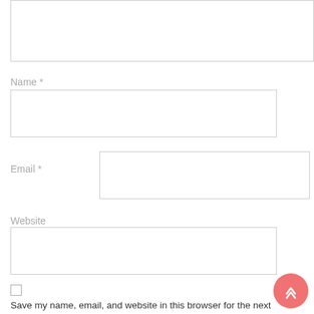[Figure (screenshot): Top portion of a web comment form showing a large textarea (partially visible, cropped at top), then fields for Name, Email, and Website, plus a checkbox to save name/email/website in browser, and a coral scroll-to-top button.]
Name *
Email *
Website
Save my name, email, and website in this browser for the next time I comment.